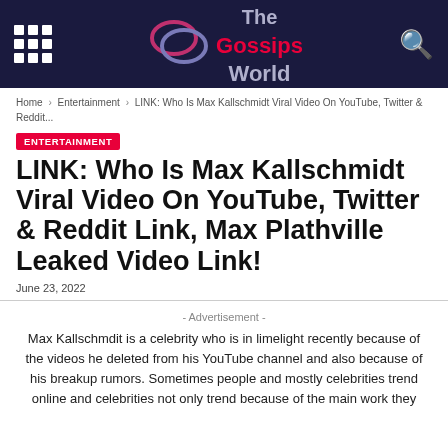The Gossips World
Home › Entertainment › LINK: Who Is Max Kallschmidt Viral Video On YouTube, Twitter & Reddit...
ENTERTAINMENT
LINK: Who Is Max Kallschmidt Viral Video On YouTube, Twitter & Reddit Link, Max Plathville Leaked Video Link!
June 23, 2022
- Advertisement -
Max Kallschmdit is a celebrity who is in limelight recently because of the videos he deleted from his YouTube channel and also because of his breakup rumors. Sometimes people and mostly celebrities trend online and celebrities not only trend because of the main work they